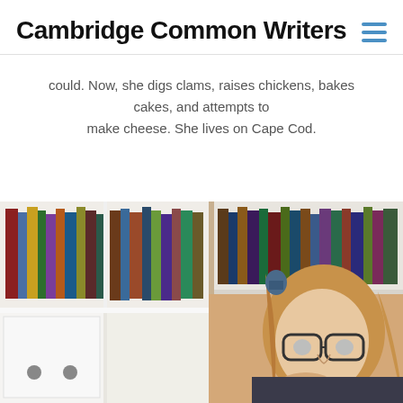Cambridge Common Writers
could. Now, she digs clams, raises chickens, bakes cakes, and attempts to make cheese. She lives on Cape Cod.
[Figure (photo): A woman with glasses and long blonde hair resting her chin on her hand, sitting in front of a white bookshelf filled with books.]